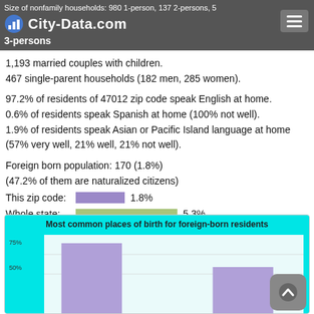Size of nonfamily households: 980 1-person, 137 2-persons, 5 3-persons | City-Data.com
1,193 married couples with children.
467 single-parent households (182 men, 285 women).
97.2% of residents of 47012 zip code speak English at home.
0.6% of residents speak Spanish at home (100% not well).
1.9% of residents speak Asian or Pacific Island language at home (57% very well, 21% well, 21% not well).
Foreign born population: 170 (1.8%)
(47.2% of them are naturalized citizens)
This zip code: 1.8%
Whole state: 5.3%
[Figure (bar-chart): Most common places of birth for foreign-born residents]